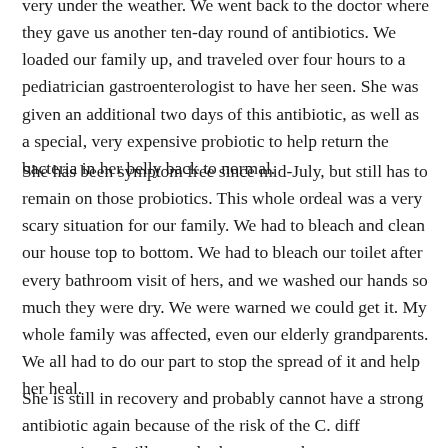very under the weather. We went back to the doctor where they gave us another ten-day round of antibiotics. We loaded our family up, and traveled over four hours to a pediatrician gastroenterologist to have her seen. She was given an additional two days of this antibiotic, as well as a special, very expensive probiotic to help return the bacteria in her belly back to normal.
She has been symptom free since mid-July, but still has to remain on those probiotics. This whole ordeal was a very scary situation for our family. We had to bleach and clean our house top to bottom. We had to bleach our toilet after every bathroom visit of hers, and we washed our hands so much they were dry. We were warned we could get it. My whole family was affected, even our elderly grandparents. We all had to do our part to stop the spread of it and help her heal.
She is still in recovery and probably cannot have a strong antibiotic again because of the risk of the C. diff reoccurring. I will never look at germs the same way again since this happened. We are just so